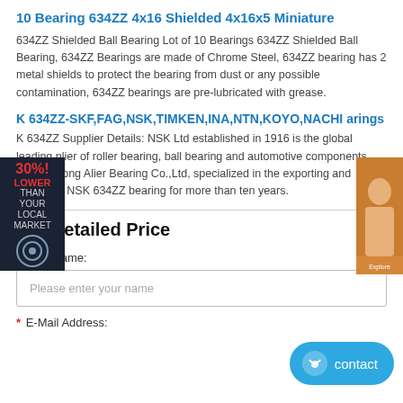10 Bearing 634ZZ 4x16 Shielded 4x16x5 Miniature
634ZZ Shielded Ball Bearing Lot of 10 Bearings 634ZZ Shielded Ball Bearing, 634ZZ Bearings are made of Chrome Steel, 634ZZ bearing has 2 metal shields to protect the bearing from dust or any possible contamination, 634ZZ bearings are pre-lubricated with grease.
K 634ZZ-SKF,FAG,NSK,TIMKEN,INA,NTN,KOYO,NACHI arings
K 634ZZ Supplier Details: NSK Ltd established in 1916 is the global leading plier of roller bearing, ball bearing and automotive components. We, ng Kong Alier Bearing Co.,Ltd, specialized in the exporting and supplying NSK 634ZZ bearing for more than ten years.
Get Detailed Price
* Your Name:
Please enter your name
* E-Mail Address: